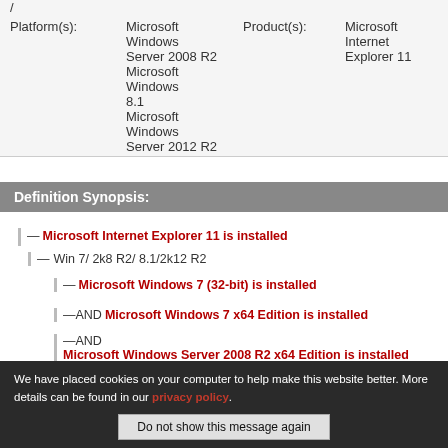| Platform(s): | Product(s): |
| --- | --- |
| /
Microsoft Windows Server 2008 R2
Microsoft Windows 8.1
Microsoft Windows Server 2012 R2 | Microsoft Internet Explorer 11 |
Definition Synopsis:
—Microsoft Internet Explorer 11 is installed
— Win 7/ 2k8 R2/ 8.1/2k12 R2
—Microsoft Windows 7 (32-bit) is installed
—AND Microsoft Windows 7 x64 Edition is installed
—AND Microsoft Windows Server 2008 R2 x64 Edition is installed
—AND Microsoft Windows 8.1 (x86) is installed
—AND Microsoft Windows 8.1 (x64) is installed
—AND Microsoft Windows Server 2012 R2 is installed
—AND Check the version of Internet Explorer is installed 11.0.9600.17728
We have placed cookies on your computer to help make this website better. More details can be found in our privacy policy.
Do not show this message again